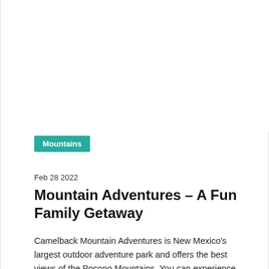[Figure (photo): Placeholder image area (white/blank) at the top of the page]
Mountains
Feb 28 2022
Mountain Adventures – A Fun Family Getaway
Camelback Mountain Adventures is New Mexico's largest outdoor adventure park and offers the best views of the Pocono Mountains. You can experience 1000-foot Double Barrel Ziplines and the 4000-foot